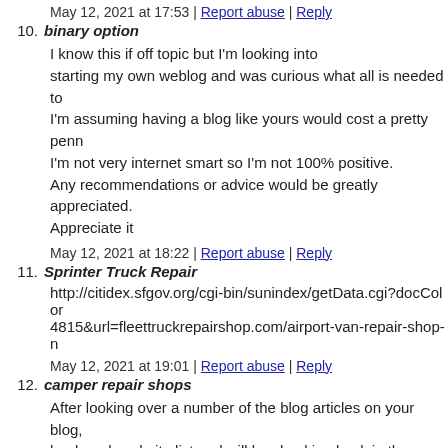May 12, 2021 at 17:53 | Report abuse | Reply
10. binary option
I know this if off topic but I'm looking into starting my own weblog and was curious what all is needed to... I'm assuming having a blog like yours would cost a pretty penn... I'm not very internet smart so I'm not 100% positive. Any recommendations or advice would be greatly appreciated. Appreciate it
May 12, 2021 at 18:22 | Report abuse | Reply
11. Sprinter Truck Repair
http://citidex.sfgov.org/cgi-bin/sunindex/getData.cgi?docColor... 4815&url=fleettruckrepairshop.com/airport-van-repair-shop-n...
May 12, 2021 at 19:01 | Report abuse | Reply
12. camper repair shops
After looking over a number of the blog articles on your blog,... bookmark website list and will be checking back in the near fu...
https://moad.dipujaen.es/index.html?redireccion=https://ocrvm...
May 12, 2021 at 20:34 | Report abuse | Reply